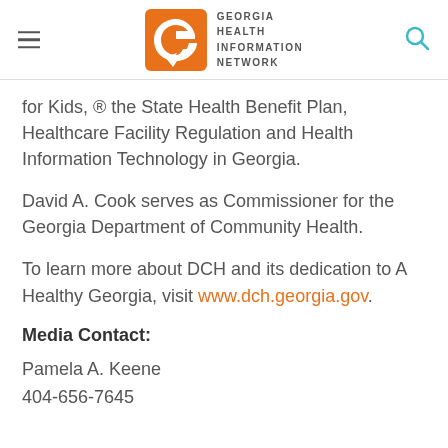Georgia Health Information Network
for Kids, ® the State Health Benefit Plan, Healthcare Facility Regulation and Health Information Technology in Georgia.
David A. Cook serves as Commissioner for the Georgia Department of Community Health.
To learn more about DCH and its dedication to A Healthy Georgia, visit www.dch.georgia.gov.
Media Contact:
Pamela A. Keene
404-656-7645